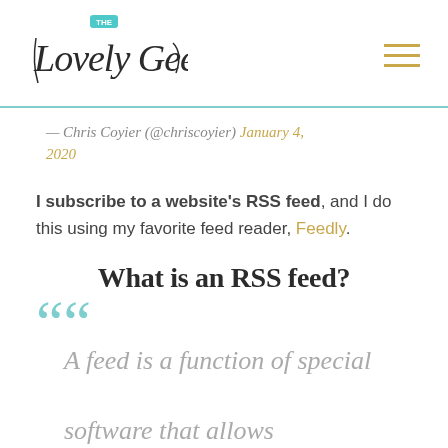The Lovely Geek [logo]
— Chris Coyier (@chriscoyier) January 4, 2020
I subscribe to a website's RSS feed, and I do this using my favorite feed reader, Feedly.
What is an RSS feed?
A feed is a function of special software that allows